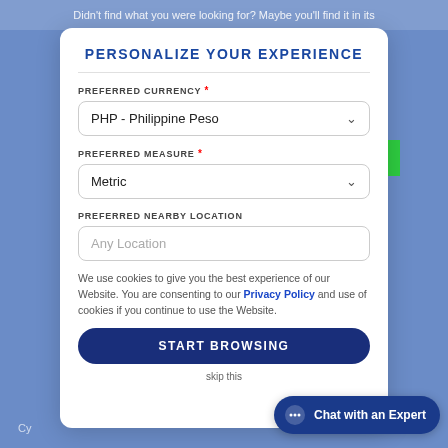Didn't find what you were looking for? Maybe you'll find it in its
PERSONALIZE YOUR EXPERIENCE
PREFERRED CURRENCY *
PHP - Philippine Peso
PREFERRED MEASURE *
Metric
PREFERRED NEARBY LOCATION
Any Location
We use cookies to give you the best experience of our Website. You are consenting to our Privacy Policy and use of cookies if you continue to use the Website.
START BROWSING
skip this
Chat with an Expert